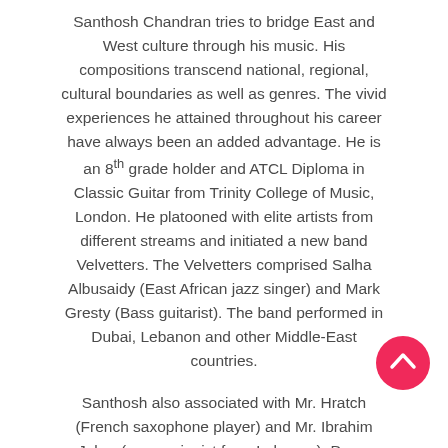Santhosh Chandran tries to bridge East and West culture through his music. His compositions transcend national, regional, cultural boundaries as well as genres. The vivid experiences he attained throughout his career have always been an added advantage. He is an 8th grade holder and ATCL Diploma in Classic Guitar from Trinity College of Music, London. He platooned with elite artists from different streams and initiated a new band Velvetters. The Velvetters comprised Salha Albusaidy (East African jazz singer) and Mark Gresty (Bass guitarist). The band performed in Dubai, Lebanon and other Middle-East countries.
Santhosh also associated with Mr. Hratch (French saxophone player) and Mr. Ibrahim Jaber (percussionist from Lebanon). Down Beat Jazz was the trio band which Santhosh joined in 2005 with Sax Nick Foster and Merwyn in Muscat. The years spent in Muscat saw him moving closer to his current genre of choice — flamenco, though it came after a few years